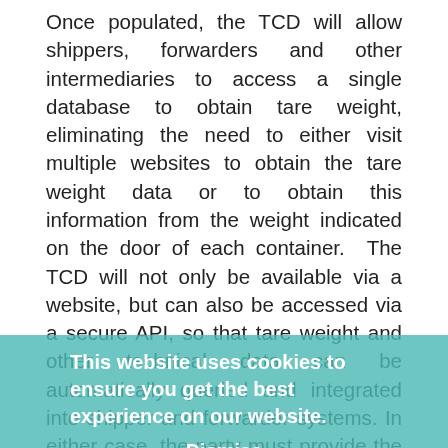Once populated, the TCD will allow shippers, forwarders and other intermediaries to access a single database to obtain tare weight, eliminating the need to either visit multiple websites to obtain the tare weight data or to obtain this information from the weight indicated on the door of each container. The TCD will not only be available via a website, but can also be accessed via a secure API, so that tare weight and other technical data can be automatically queried and integrated into shipper and forwarder systems. In either case, the party must provide the container number to obtain the tare weight.

For carriers and leasing companies, the database provides the automated tare weight access preferred by many shippers, without having to invest time and money on multiple integration requests or deal with requests for individual tare weights. It also simplifies any issue around tare weight arising when containers are interchanged or 'swapped' between parties
This website uses cookies to ensure you get the best experience on our website.
Dismiss